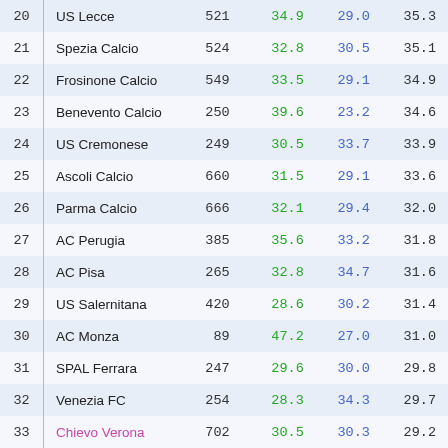| # | Team | Col3 | Col4 | Col5 | Col6 |
| --- | --- | --- | --- | --- | --- |
| 20 | US Lecce | 521 | 34.9 | 29.0 | 35.3 |
| 21 | Spezia Calcio | 524 | 32.8 | 30.5 | 35.1 |
| 22 | Frosinone Calcio | 549 | 33.5 | 29.1 | 34.9 |
| 23 | Benevento Calcio | 250 | 39.6 | 23.2 | 34.6 |
| 24 | US Cremonese | 249 | 30.5 | 33.7 | 33.9 |
| 25 | Ascoli Calcio | 660 | 31.5 | 29.1 | 33.6 |
| 26 | Parma Calcio | 666 | 32.1 | 29.4 | 32.0 |
| 27 | AC Perugia | 385 | 35.6 | 33.2 | 31.8 |
| 28 | AC Pisa | 265 | 32.8 | 34.7 | 31.6 |
| 29 | US Salernitana | 420 | 28.6 | 30.2 | 31.4 |
| 30 | AC Monza | 89 | 47.2 | 27.0 | 31.0 |
| 31 | SPAL Ferrara | 247 | 29.6 | 30.0 | 29.8 |
| 32 | Venezia FC | 254 | 28.3 | 34.3 | 29.7 |
| 33 | Chievo Verona | 702 | 30.5 | 30.3 | 29.2 |